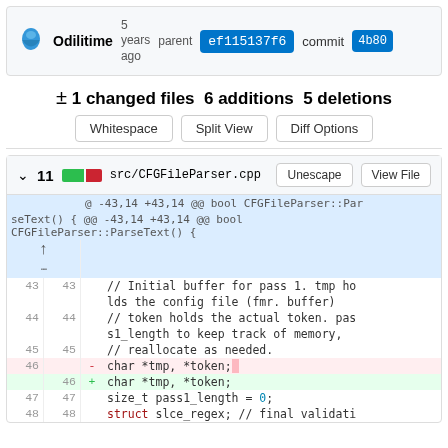Odilitime 5 years ago parent ef115137f6 commit 4b80
± 1 changed files 6 additions 5 deletions
Whitespace | Split View | Diff Options
v 11 [diff stat] src/CFGFileParser.cpp  Unescape  View File
| old | new | op | code |
| --- | --- | --- | --- |
|  |  |  | @ -43,14 +43,14 @@ bool CFGFileParser::Par seText() { @@ -43,14 +43,14 @@ bool CFGFileParser::ParseText() { |
| 43 | 43 |  |     // Initial buffer for pass 1. tmp holds the config file (fmr. buffer) |
| 44 | 44 |  |     // token holds the actual token. pas s1_length to keep track of memory, |
| 45 | 45 |  |     // reallocate as needed. |
| 46 |  | - |     char *tmp, *token; |
|  | 46 | + |     char *tmp, *token; |
| 47 | 47 |  |     size_t pass1_length = 0; |
| 48 | 48 |  |     struct slce_regex; // final validati |